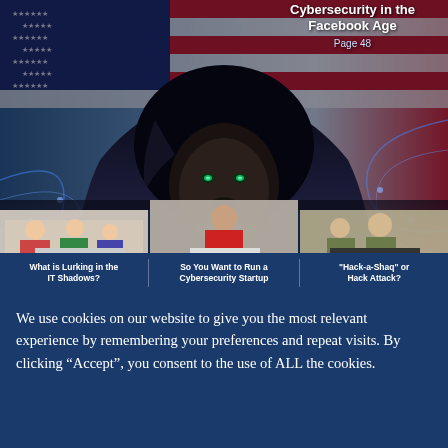[Figure (photo): Magazine cover showing a hooded figure against a US flag background, with three inset scenes: children at laptops, a young man in red shirt at laptop, and military personnel at computers. Text overlay reads 'Cybersecurity in the Facebook Age, Page 48']
Cybersecurity in the Facebook Age
Page 48
What is Lurking in the IT Shadows?
So You Want to Run a Cybersecurity Startup
"Hack-a-Shaq" or Hack Attack?
We use cookies on our website to give you the most relevant experience by remembering your preferences and repeat visits. By clicking “Accept”, you consent to the use of ALL the cookies.